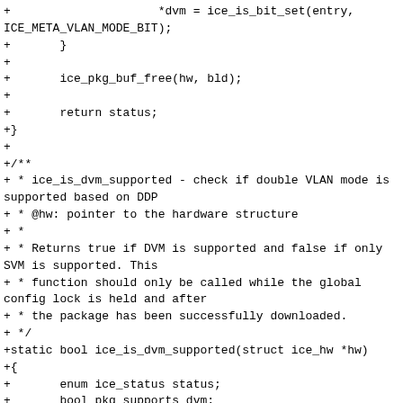+                     *dvm = ice_is_bit_set(entry,
ICE_META_VLAN_MODE_BIT);
+       }
+
+       ice_pkg_buf_free(hw, bld);
+
+       return status;
+}
+
+/**
+ * ice_is_dvm_supported - check if double VLAN mode is supported based on DDP
+ * @hw: pointer to the hardware structure
+ *
+ * Returns true if DVM is supported and false if only SVM is supported. This
+ * function should only be called while the global config lock is held and after
+ * the package has been successfully downloaded.
+ */
+static bool ice_is_dvm_supported(struct ice_hw *hw)
+{
+       enum ice_status status;
+       bool pkg_supports_dvm;
+
+       status = ice_pkg_get_supported_vlan_mode(hw,
&pkg_supports_dvm);
+       if (status) {
+               ice_debug(hw, ICE_DBG_PKG, "Failed to
get supported VLAN mode, err %d\n",